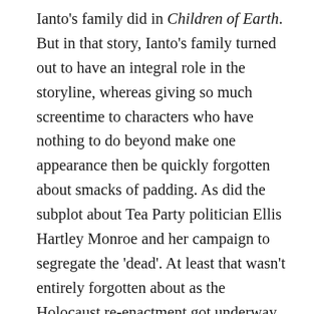Ianto's family did in Children of Earth. But in that story, Ianto's family turned out to have an integral role in the storyline, whereas giving so much screentime to characters who have nothing to do beyond make one appearance then be quickly forgotten about smacks of padding. As did the subplot about Tea Party politician Ellis Hartley Monroe and her campaign to segregate the 'dead'. At least that wasn't entirely forgotten about as the Holocaust re-enactment got underway, but it was something of a waste to introduce a character as nasty (if one-dimensional) as Monroe, then kill her off in the same episode and have her entirely forgotten about. I mean, come on – Mare Winningham is a multi-award